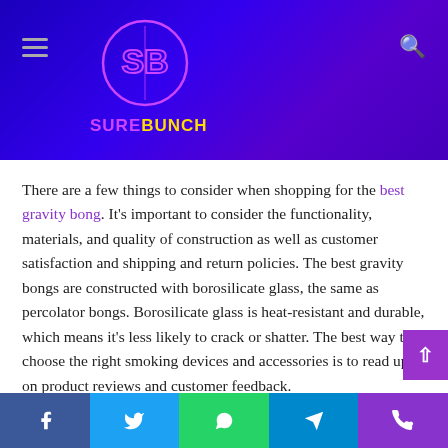SUREBUNCH
There are a few things to consider when shopping for the best gravity bong. It's important to consider the functionality, materials, and quality of construction as well as customer satisfaction and shipping and return policies. The best gravity bongs are constructed with borosilicate glass, the same as percolator bongs. Borosilicate glass is heat-resistant and durable, which means it's less likely to crack or shatter. The best way to choose the right smoking devices and accessories is to read up on product reviews and customer feedback.
The trusted medical marijuana resource American
Facebook Twitter WhatsApp Telegram Phone